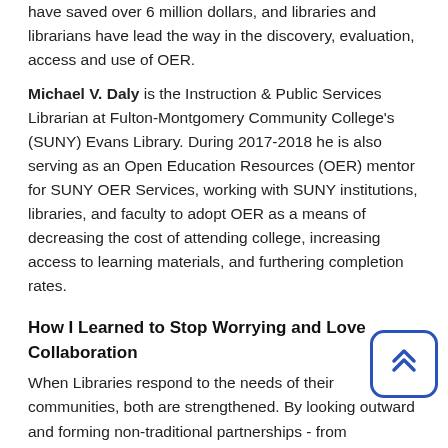have saved over 6 million dollars, and libraries and librarians have lead the way in the discovery, evaluation, access and use of OER.
Michael V. Daly is the Instruction & Public Services Librarian at Fulton-Montgomery Community College's (SUNY) Evans Library. During 2017-2018 he is also serving as an Open Education Resources (OER) mentor for SUNY OER Services, working with SUNY institutions, libraries, and faculty to adopt OER as a means of decreasing the cost of attending college, increasing access to learning materials, and furthering completion rates.
How I Learned to Stop Worrying and Love Collaboration
When Libraries respond to the needs of their communities, both are strengthened. By looking outward and forming non-traditional partnerships - from organizing political debates with the business association to holding a scavenger hunt in